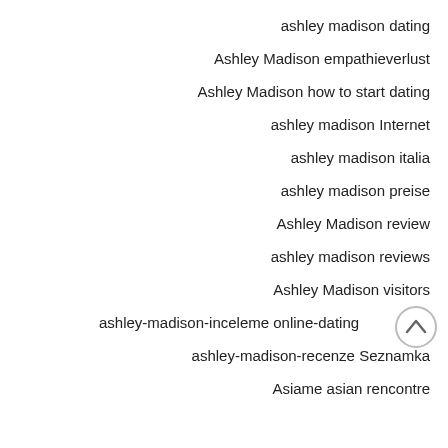ashley madison dating
Ashley Madison empathieverlust
Ashley Madison how to start dating
ashley madison Internet
ashley madison italia
ashley madison preise
Ashley Madison review
ashley madison reviews
Ashley Madison visitors
ashley-madison-inceleme online-dating
ashley-madison-recenze Seznamka
Asiame asian rencontre